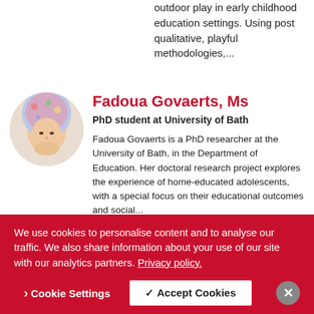outdoor play in early childhood education settings. Using post qualitative, playful methodologies,...
[Figure (photo): Circular portrait photo of Fadoua Govaerts wearing a floral hijab]
Fadoua Govaerts, Ms
PhD student at University of Bath
Fadoua Govaerts is a PhD researcher at the University of Bath, in the Department of Education. Her doctoral research project explores the experience of home-educated adolescents, with a special focus on their educational outcomes and social...
[Figure (photo): Circular portrait photo of Elisabeth Neiada]
Elisabeth Neiada, Mrs
We use cookies to personalise content and to analyse our traffic. We also share information about your use of our site with our analytics partners. Privacy policy.
Cookie Settings | Accept Cookies